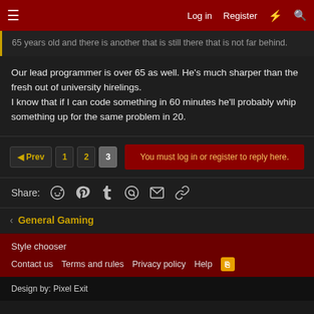Log in  Register
65 years old and there is another that is still there that is not far behind.
Our lead programmer is over 65 as well. He's much sharper than the fresh out of university hirelings.
I know that if I can code something in 60 minutes he'll probably whip something up for the same problem in 20.
Prev  1  2  3   You must log in or register to reply here.
Share:
General Gaming
Style chooser
Contact us   Terms and rules   Privacy policy   Help
Design by: Pixel Exit